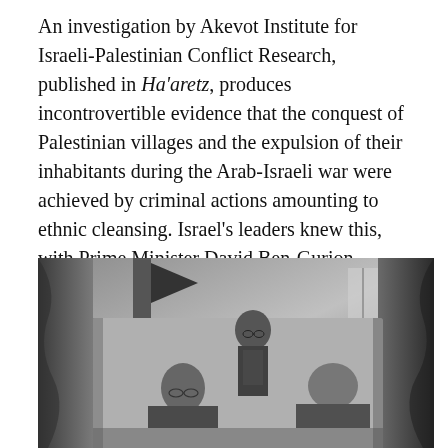An investigation by Akevot Institute for Israeli-Palestinian Conflict Research, published in Ha'aretz, produces incontrovertible evidence that the conquest of Palestinian villages and the expulsion of their inhabitants during the Arab-Israeli war were achieved by criminal actions amounting to ethnic cleansing. Israel's leaders knew this, with Prime Minister David Ben-Gurion opposing demands for a full investigation with the power to subpoena witnesses and the crimes swept under the carpet.
[Figure (photo): Black and white photograph of three men in suits. A standing man wearing glasses leans over two seated older men who appear to be in conversation or reviewing documents. A flag and curtained window are visible in the background.]